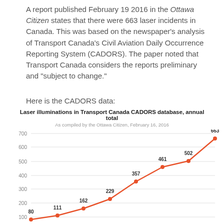A report published February 19 2016 in the Ottawa Citizen states that there were 663 laser incidents in Canada. This was based on the newspaper's analysis of Transport Canada's Civil Aviation Daily Occurrence Reporting System (CADORS). The paper noted that Transport Canada considers the reports preliminary and "subject to change."
Here is the CADORS data:
[Figure (line-chart): Laser illuminations in Transport Canada CADORS database, annual total]